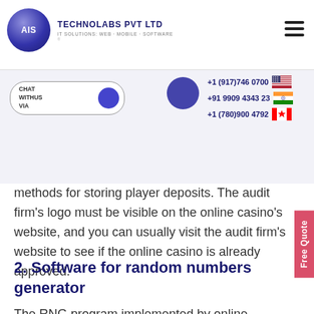AIS TECHNOLABS PVT LTD — IT SOLUTIONS: WEB · MOBILE · SOFTWARE
+1 (917)746 0700 | +91 9909 4343 23 | +1 (780)900 4792
methods for storing player deposits. The audit firm's logo must be visible on the online casino's website, and you can usually visit the audit firm's website to see if the online casino is already approved.
2. Software for random numbers generator
The RNG program implemented by online casinos